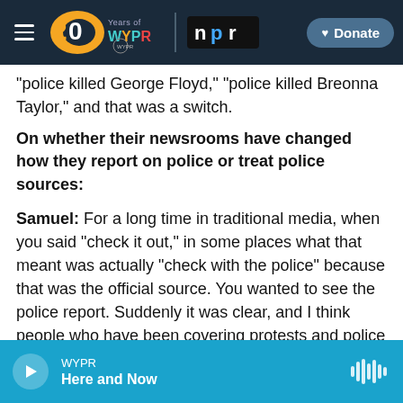[Figure (screenshot): WYPR 20 Years navigation bar with NPR logo and Donate button on dark navy background]
"police killed George Floyd," "police killed Breonna Taylor," and that was a switch.
On whether their newsrooms have changed how they report on police or treat police sources:
Samuel: For a long time in traditional media, when you said "check it out," in some places what that meant was actually "check with the police" because that was the official source. You wanted to see the police report. Suddenly it was clear, and I think people who have been covering protests and police shootings over the last decade or so have come to
[Figure (screenshot): WYPR audio player bar in teal/cyan with play button, station name WYPR, show title Here and Now, and waveform icon]